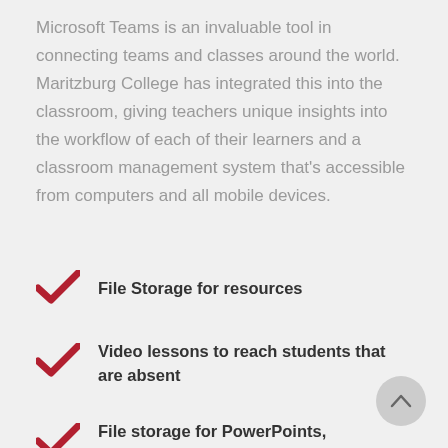Microsoft Teams is an invaluable tool in connecting teams and classes around the world. Maritzburg College has integrated this into the classroom, giving teachers unique insights into the workflow of each of their learners and a classroom management system that's accessible from computers and all mobile devices.
File Storage for resources
Video lessons to reach students that are absent
File storage for PowerPoints, worksheets,